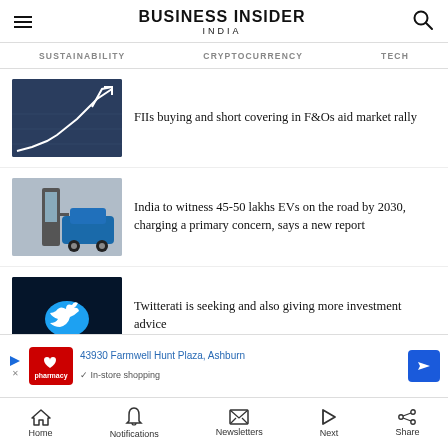BUSINESS INSIDER INDIA
SUSTAINABILITY   CRYPTOCURRENCY   TECH
FIIs buying and short covering in F&Os aid market rally
India to witness 45-50 lakhs EVs on the road by 2030, charging a primary concern, says a new report
Twitterati is seeking and also giving more investment advice
Best humidifiers for room in India
[Figure (screenshot): CVS Pharmacy ad showing address 43930 Farmwell Hunt Plaza, Ashburn and In-store shopping]
Home  Notifications  Newsletters  Next  Share